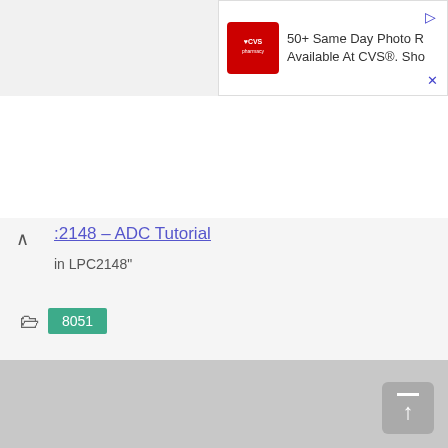[Figure (screenshot): CVS pharmacy advertisement banner at top right showing '50+ Same Day Photo R... Available At CVS®. Sho...']
2148 – ADC Tutorial
in  LPC2148"
8051
8051 , ADC , LCD Interfacing , Temperature Sensor , Tutorials
< LPC2148 – Timer/Counter Tutorial
> L293D Motor Driver Working Operation